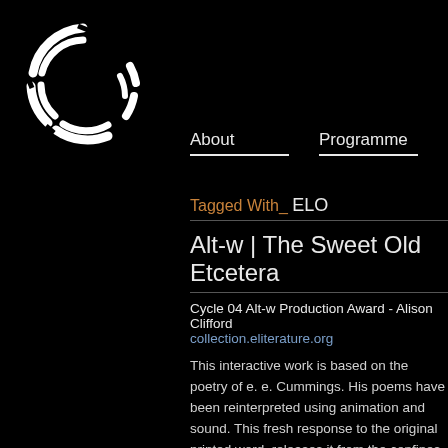[Figure (logo): Circular arc logo in white on black background, resembling a stylized letter C made of segmented arcs]
About   Programme
Tagged With_ ELO
Alt-w | The Sweet Old Etcetera
Cycle 04 Alt-w Production Award - Alison Clifford
collection.eliterature.org
This interactive work is based on the poetry of e. e. Cummings. His poems have been reinterpreted using animation and sound. This fresh response to the original printed word, releases it from the confines of the physical page, bringing it into a digital environment in a playful...
This Flash based work was preserved with Ruffle by Electronic Literature Lab, an initiative of the Electronic Literature Organisation in February 2021. The ELO collects works with important literary aspects that take advantage of the capabilities and contexts provided by the computer...
Read more